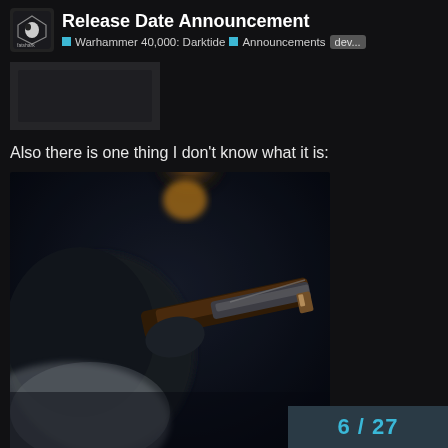Release Date Announcement — Warhammer 40,000: Darktide › Announcements › dev...
[Figure (photo): Small blurred/redacted thumbnail image in upper left area]
Also there is one thing I don't know what it is:
[Figure (photo): Close-up photo of a dark mechanical weapon/gun with brown and metallic parts, blurred background with warm light]
6 / 27